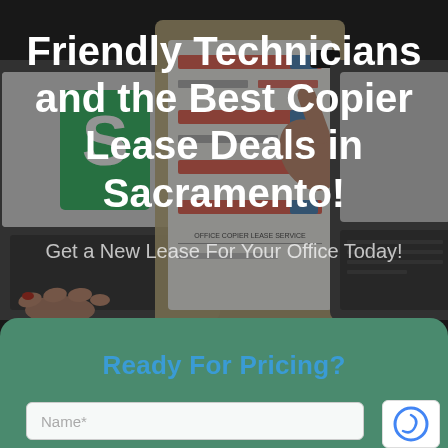[Figure (photo): Overhead view of people working on laptops and a tablet on a dark desk, with papers, sticky notes, and a pen visible. Serves as background hero image for the page.]
Friendly Technicians and the Best Copier Lease Deals in Sacramento!
Get a New Lease For Your Office Today!
Ready For Pricing?
Name*